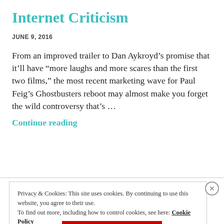Internet Criticism
JUNE 9, 2016
From an improved trailer to Dan Aykroyd’s promise that it’ll have “more laughs and more scares than the first two films,” the most recent marketing wave for Paul Feig’s Ghostbusters reboot may almost make you forget the wild controversy that’s …
Continue reading
Privacy & Cookies: This site uses cookies. By continuing to use this website, you agree to their use.
To find out more, including how to control cookies, see here: Cookie Policy
Close and accept